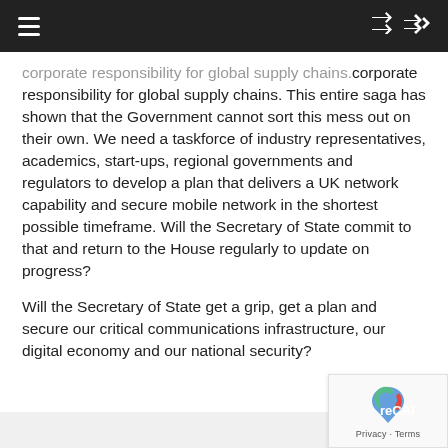Navigation bar with hamburger menu and shuffle icon
corporate responsibility for global supply chains. This entire saga has shown that the Government cannot sort this mess out on their own. We need a taskforce of industry representatives, academics, start-ups, regional governments and regulators to develop a plan that delivers a UK network capability and secure mobile network in the shortest possible timeframe. Will the Secretary of State commit to that and return to the House regularly to update on progress?
Will the Secretary of State get a grip, get a plan and secure our critical communications infrastructure, our digital economy and our national security?
[Figure (logo): Google reCAPTCHA badge with Privacy and Terms links]